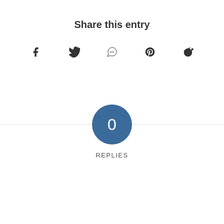Share this entry
[Figure (infographic): Row of social media share icons: Facebook (f), Twitter (bird), WhatsApp (phone in circle), Pinterest (P), Reddit (alien mascot)]
0 REPLIES